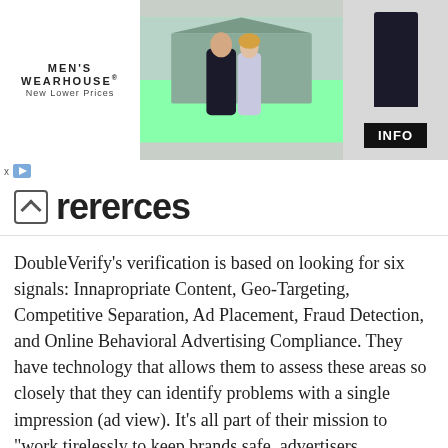[Figure (photo): Men's Wearhouse advertisement banner showing a couple in formal wear, a suited man figure on the right, with 'MEN'S WEARHOUSE New Lower Prices' branding and an INFO button.]
rererces
DoubleVerify's verification is based on looking for six signals: Innapropriate Content, Geo-Targeting, Competitive Separation, Ad Placement, Fraud Detection, and Online Behavioral Advertising Compliance. They have technology that allows them to assess these areas so closely that they can identify problems with a single impression (ad view). It's all part of their mission to “work tirelessly to keep brands safe, advertisers confident, and online advertising more accountable and trusted.” They must be doing a good job, as they’ve already worked with more than 200 Fortune 500 companies. If you want to learn more about how DoubleVerify is doing what they do, you should definitely read up on their Solutions and their Technology. If that piques your interest, then you should